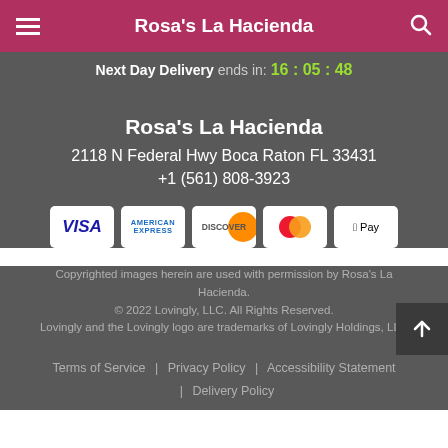Rosa's La Hacienda
Next Day Delivery ends in: 16 : 05 : 48
Rosa's La Hacienda
2118 N Federal Hwy Boca Raton FL 33431
+1 (561) 808-3923
[Figure (logo): Payment method logos: VISA, American Express, Discover, Mastercard, Apple Pay]
Copyrighted images herein are used with permission by Rosa's La Hacienda.
© 2022 Lovingly, LLC. All Rights Reserved.
Lovingly and the Lovingly logo are trademarks of Lovingly Holdings, LLC
Terms of Service | Privacy Policy | Accessibility Statement | Delivery Policy